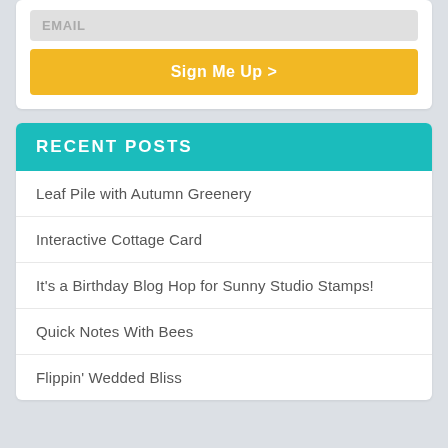EMAIL
Sign Me Up >
RECENT POSTS
Leaf Pile with Autumn Greenery
Interactive Cottage Card
It's a Birthday Blog Hop for Sunny Studio Stamps!
Quick Notes With Bees
Flippin' Wedded Bliss